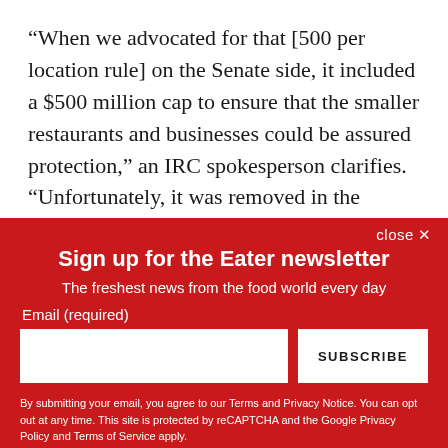“When we advocated for that [500 per location rule] on the Senate side, it included a $500 million cap to ensure that the smaller restaurants and businesses could be assured protection,” an IRC spokesperson clarifies. “Unfortunately, it was removed in the House and not included in the final package. Most small restaurants didn’t get funding because Congress made PPP so broad that businesses took funds
close ×
Sign up for the Eater newsletter
The freshest news from the food world every day
Email (required)
SUBSCRIBE
By submitting your email, you agree to our Terms and Privacy Notice. You can opt out at any time. This site is protected by reCAPTCHA and the Google Privacy Policy and Terms of Service apply.